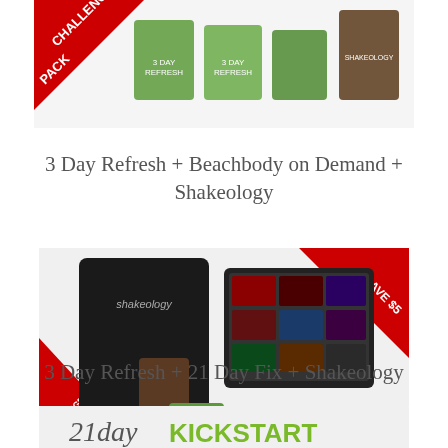[Figure (photo): Challenge Pack product image showing 3 Day Refresh packages with green branding at top of page]
3 Day Refresh + Beachbody on Demand + Shakeology
[Figure (photo): Shakeology Challenge Pack product image showing Shakeology bag, tablet with workout videos, and 3 Day Refresh packages with SAVE $5 and CHALLENGE PACK banners]
3 Day Refresh + 21 Day Fix + Shakeology
[Figure (photo): 21 day KICKSTART FIX product image partially visible at bottom of page]